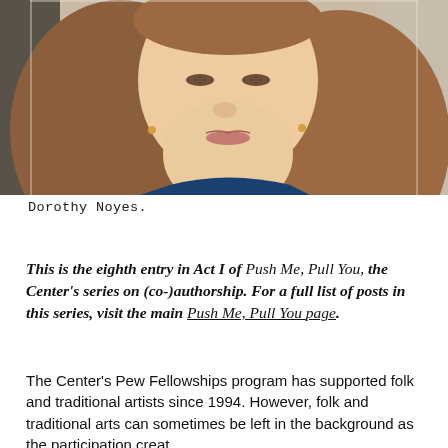[Figure (photo): Close-up portrait photo of Dorothy Noyes, a woman with long reddish-brown hair, against a light background. She is wearing a blue top.]
Dorothy Noyes.
This is the eighth entry in Act I of Push Me, Pull You, the Center's series on (co-)authorship. For a full list of posts in this series, visit the main Push Me, Pull You page.
The Center's Pew Fellowships program has supported folk and traditional artists since 1994. However, folk and traditional arts can sometimes be left in the background as the participation creates a...